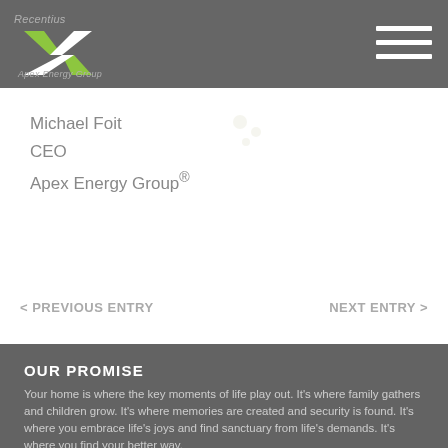Recentius — Apex Energy Group logo and navigation
Michael Foit
CEO
Apex Energy Group®
< PREVIOUS ENTRY
NEXT ENTRY >
OUR PROMISE
Your home is where the key moments of life play out. It's where family gathers and children grow. It's where memories are created and security is found. It's where you embrace life's joys and find sanctuary from life's demands. It's where you find your better way.